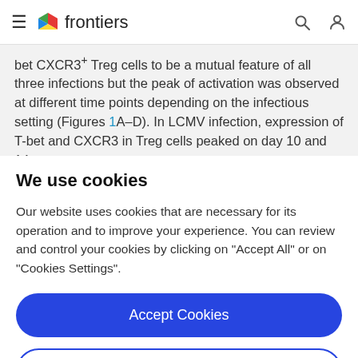frontiers
bet CXCR3+ Treg cells to be a mutual feature of all three infections but the peak of activation was observed at different time points depending on the infectious setting (Figures 1A–D). In LCMV infection, expression of T-bet and CXCR3 in Treg cells peaked on day 10 and 14
We use cookies
Our website uses cookies that are necessary for its operation and to improve your experience. You can review and control your cookies by clicking on "Accept All" or on "Cookies Settings".
Accept Cookies
Cookies Settings